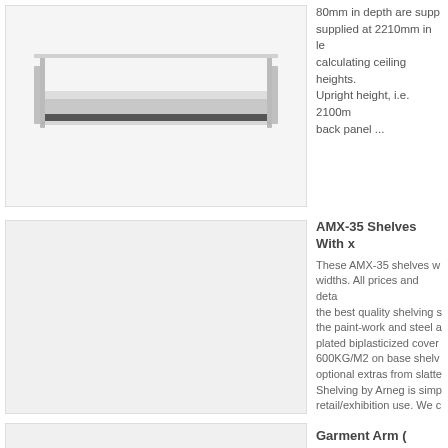[Figure (photo): Photo of a metal shelving unit component showing drawer/shelf cross-section with grey edge banding, on white background]
80mm in depth are supplied at 2210mm in length calculating ceiling heights. Upright height, i.e. 2100m back panel ...
[Figure (photo): Product image placeholder for AMX-35 Shelves with X feature — large grey rectangle]
AMX-35 Shelves With x
These AMX-35 shelves w widths. All prices and deta the best quality shelving s the paint-work and steel a plated biplasticized cover 600KG/M2 on base shelv optional extras from slatte Shelving by Arneg is simp retail/exhibition use. We c enquire. All Brackets Sup To - 20 Degrees. Size opt and 650mm wide shelves
[Figure (photo): Product image placeholder for Garment Arm product — grey rectangle]
Garment Arm ( Require